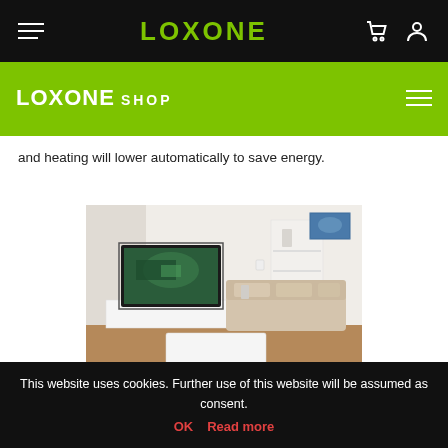LOXONE
LOXONE SHOP
and heating will lower automatically to save energy.
[Figure (photo): Modern living room with wall-mounted TV, white modular shelving, light beige sofa, wooden floor, and white coffee table]
Energy Saving
This website uses cookies. Further use of this website will be assumed as consent. OK  Read more